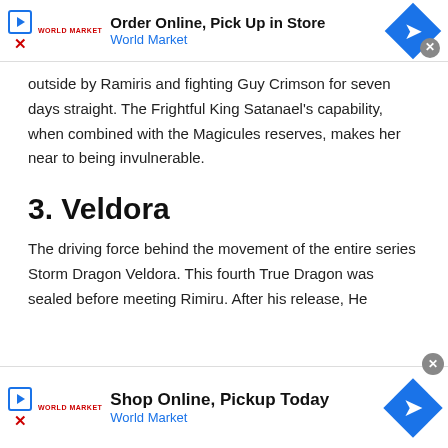[Figure (infographic): Top advertisement banner: Order Online, Pick Up in Store - World Market with blue diamond arrow icon]
outside by Ramiris and fighting Guy Crimson for seven days straight. The Frightful King Satanael's capability, when combined with the Magicules reserves, makes her near to being invulnerable.
3. Veldora
The driving force behind the movement of the entire series Storm Dragon Veldora. This fourth True Dragon was sealed before meeting Rimiru. After his release, He
[Figure (infographic): Bottom advertisement banner: Shop Online, Pickup Today - World Market with blue diamond arrow icon]